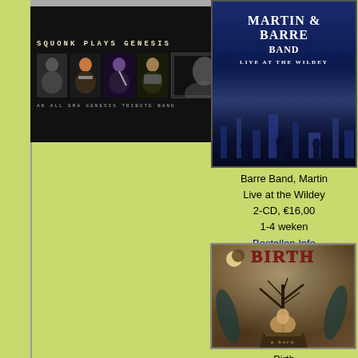[Figure (photo): Squonk Plays Genesis band photo with text - black background, band members performing, AN ALL ERA GENESIS TRIBUTE BAND]
[Figure (photo): Martin Barre Band - Live at the Wildey album cover, blue concert stage background]
Barre Band, Martin
Live at the Wildey
2-CD, €16,00
1-4 weken
Bestellen Info
[Figure (photo): Birth - Born album cover, dark fantasy/medieval artwork with tree and figures]
Birth
Born
CD, €17,00
OP VOORRAAD !
Bestellen Info